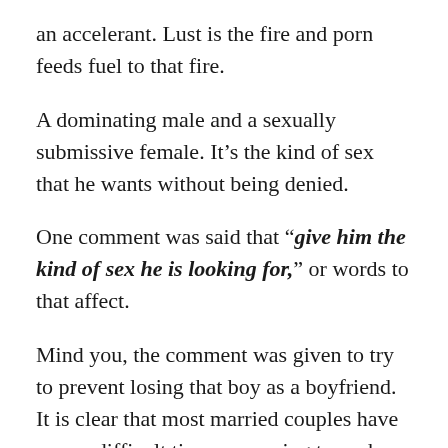an accelerant. Lust is the fire and porn feeds fuel to that fire.
A dominating male and a sexually submissive female. It's the kind of sex that he wants without being denied.
One comment was said that “give him the kind of sex he is looking for,” or words to that affect.
Mind you, the comment was given to try to prevent losing that boy as a boyfriend. It is clear that most married couples have a very difficult time expressing to each other the kind of mutual sex they are looking to have. And we must conclude that there is no guarantee that